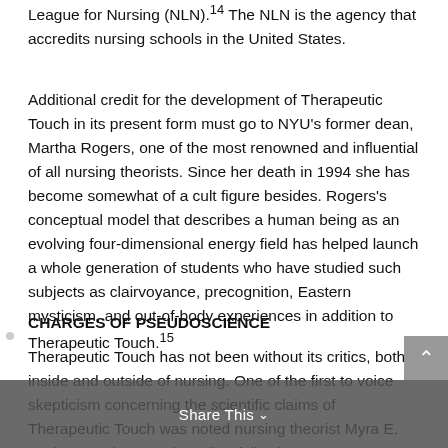League for Nursing (NLN).¹⁴ The NLN is the agency that accredits nursing schools in the United States.
Additional credit for the development of Therapeutic Touch in its present form must go to NYU's former dean, Martha Rogers, one of the most renowned and influential of all nursing theorists. Since her death in 1994 she has become somewhat of a cult figure besides. Rogers's conceptual model that describes a human being as an evolving four-dimensional energy field has helped launch a whole generation of students who have studied such subjects as clairvoyance, precognition, Eastern mysticism, and out-of-body experiences in addition to Therapeutic Touch.¹⁵
CHARGES OF PSEUDOSCIENCE
Therapeutic Touch has not been without its critics, both inside and outside of nursing. One of the first to voice skepticism concerning the scientific claims of Therapeutic Touch was noted nursing theorist Myra E. Levine. In a letter to the editor following